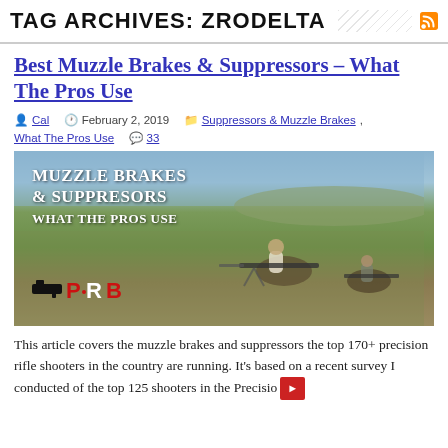TAG ARCHIVES: ZRODELTA
Best Muzzle Brakes & Suppressors – What The Pros Use
Cal  February 2, 2019  Suppressors & Muzzle Brakes, What The Pros Use  33
[Figure (photo): Outdoor shooting range photo showing two precision rifle shooters prone on the ground. Text overlay reads 'Muzzle Brakes & Suppresors What The Pros Use'. PRB logo in bottom left.]
This article covers the muzzle brakes and suppressors the top 170+ precision rifle shooters in the country are running. It's based on a recent survey I conducted of the top 125 shooters in the Precisio